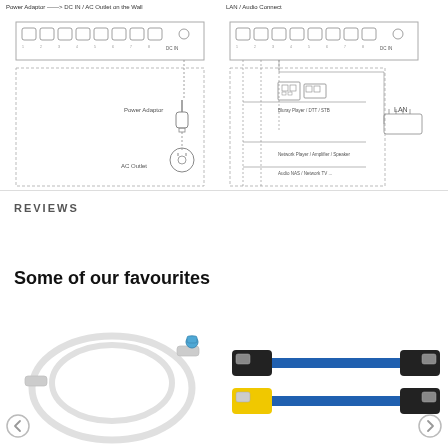[Figure (schematic): Left diagram showing Power Adaptor connected to DC IN / AC Outlet on the Wall, with a network switch at top and power adapter/AC outlet below connected by dashed lines]
[Figure (schematic): Right diagram showing network switch at top connected via dashed lines to Bluray Player / DTT / STB, Network Player / Amplifier / Speaker, Audio NAS / Network TV, and LAN router]
REVIEWS
Some of our favourites
[Figure (photo): White flat ethernet/network cable with blue connector on a white background]
[Figure (photo): Blue ethernet cables with black, yellow and white connectors on white background]